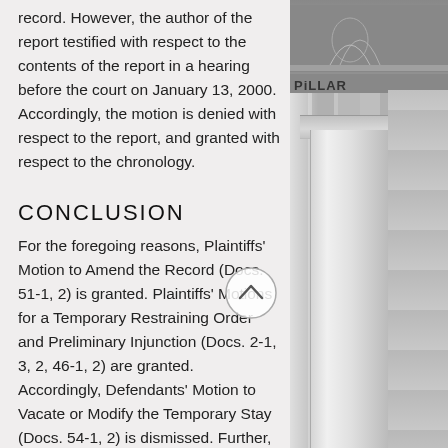record. However, the author of the report testified with respect to the contents of the report in a hearing before the court on January 13, 2000. Accordingly, the motion is denied with respect to the report, and granted with respect to the chronology.
CONCLUSION
For the foregoing reasons, Plaintiffs' Motion to Amend the Record (Docs. 51-1, 2) is granted. Plaintiffs' Motions for a Temporary Restraining Order and Preliminary Injunction (Docs. 2-1, 3, 2, 46-1, 2) are granted. Accordingly, Defendants' Motion to Vacate or Modify the Temporary Stay (Docs. 54-1, 2) is dismissed. Further, Plaintiffs' Motion to
[Figure (photo): Black and white photograph of a classical courthouse building with Corinthian columns and stone facade, partial text 'PILLAR' visible]